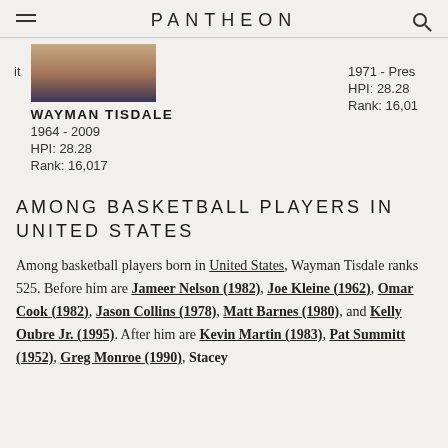PANTHEON
it    1971 - Pres
WAYMAN TISDALE    HPI: 28.28
1964 - 2009    Rank: 16,01
HPI: 28.28
Rank: 16,017
AMONG BASKETBALL PLAYERS IN UNITED STATES
Among basketball players born in United States, Wayman Tisdale ranks 525. Before him are Jameer Nelson (1982), Joe Kleine (1962), Omar Cook (1982), Jason Collins (1978), Matt Barnes (1980), and Kelly Oubre Jr. (1995). After him are Kevin Martin (1983), Pat Summitt (1952), Greg Monroe (1990), Stacey